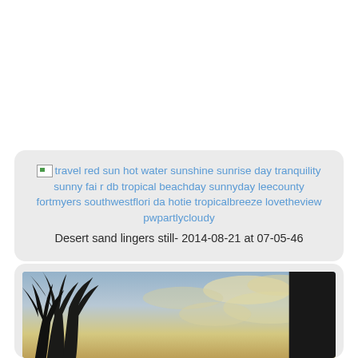[Figure (other): Card with broken image icon and tag text: travel red sun hot water sunshine sunrise day tranquility sunny fair db tropical beachday sunnyday leecounty fortmyers southwestflorida hotie tropicalbreeze lovetheview pwpartlycloudy. Caption: Desert sand lingers still- 2014-08-21 at 07-05-46]
[Figure (photo): Photograph of palm trees silhouetted against a warm sunset sky with clouds, dark strip on the right side.]